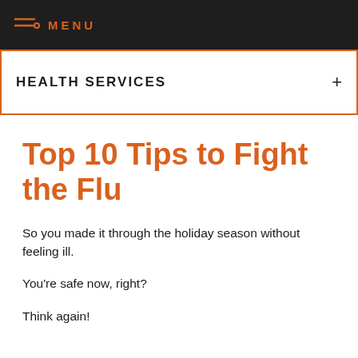MENU
HEALTH SERVICES
Top 10 Tips to Fight the Flu
So you made it through the holiday season without feeling ill.
You're safe now, right?
Think again!